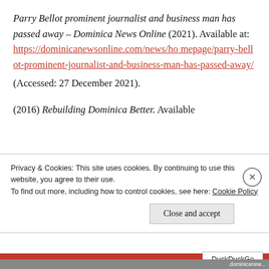Parry Bellot prominent journalist and business man has passed away – Dominica News Online (2021). Available at: https://dominicanewsonline.com/news/homepage/parry-bellot-prominent-journalist-and-business-man-has-passed-away/ (Accessed: 27 December 2021).
(2016) Rebuilding Dominica Better. Available
Privacy & Cookies: This site uses cookies. By continuing to use this website, you agree to their use. To find out more, including how to control cookies, see here: Cookie Policy